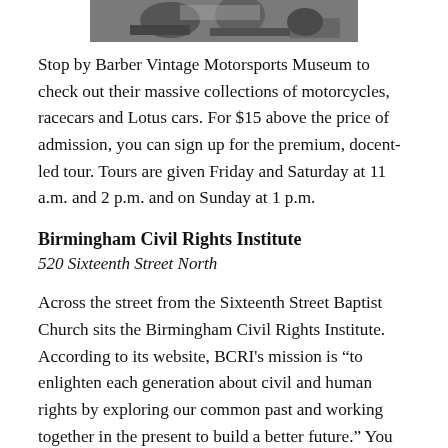[Figure (photo): Partial photo of motorcycles or racing vehicles at Barber Vintage Motorsports Museum, cropped at top of page]
Stop by Barber Vintage Motorsports Museum to check out their massive collections of motorcycles, racecars and Lotus cars. For $15 above the price of admission, you can sign up for the premium, docent-led tour. Tours are given Friday and Saturday at 11 a.m. and 2 p.m. and on Sunday at 1 p.m.
Birmingham Civil Rights Institute
520 Sixteenth Street North
Across the street from the Sixteenth Street Baptist Church sits the Birmingham Civil Rights Institute.  According to its website, BCRI's mission is “to enlighten each generation about civil and human rights by exploring our common past and working together in the present to build a better future.” You can take a self-directed tour that educates you